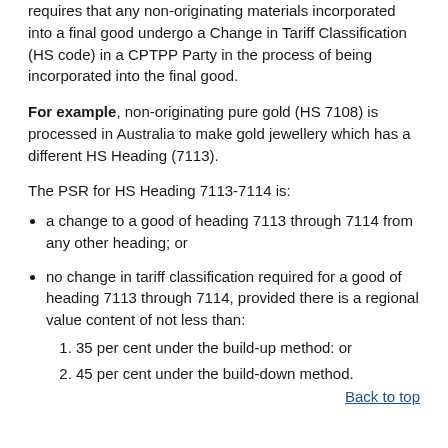requires that any non-originating materials incorporated into a final good undergo a Change in Tariff Classification (HS code) in a CPTPP Party in the process of being incorporated into the final good.
For example, non-originating pure gold (HS 7108) is processed in Australia to make gold jewellery which has a different HS Heading (7113).
The PSR for HS Heading 7113-7114 is:
a change to a good of heading 7113 through 7114 from any other heading; or
no change in tariff classification required for a good of heading 7113 through 7114, provided there is a regional value content of not less than:
1. 35 per cent under the build-up method: or
2. 45 per cent under the build-down method.